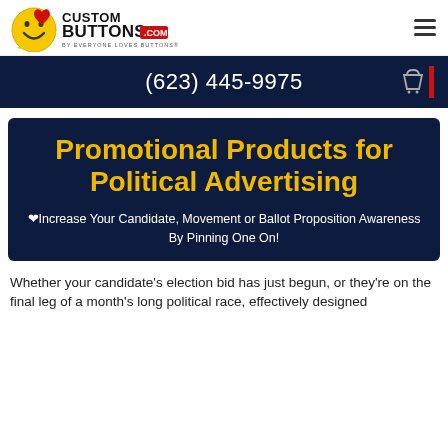[Figure (logo): CustomButtons.com logo with smiley face and heart icons, tagline 'BY EVERYONE LOVES BUTTONS']
(623) 445-9975
Promotional Products for Political Advertising
❤Increase Your Candidate, Movement or Ballot Proposition Awareness By Pinning One On!
Whether your candidate's election bid has just begun, or they're on the final leg of a month's long political race, effectively designed